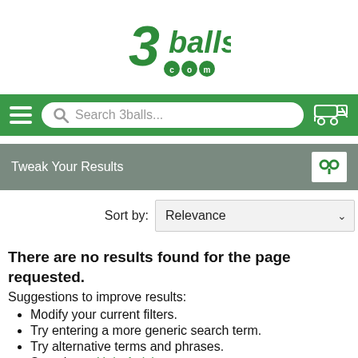[Figure (logo): 3balls.com logo in green stylized text]
[Figure (screenshot): Green navigation bar with hamburger menu, search box reading 'Search 3balls...', and golf cart icon]
Tweak Your Results
Sort by: Relevance
There are no results found for the page requested.
Suggestions to improve results:
Modify your current filters.
Try entering a more generic search term.
Try alternative terms and phrases.
Search our Help Articles.